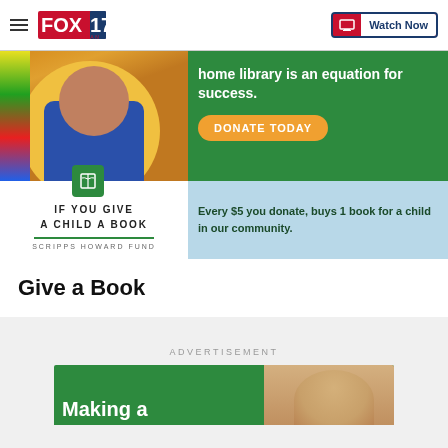FOX 17 WEST MICHIGAN — Watch Now
[Figure (infographic): Ad banner: green background with child photo, text 'home library is an equation for success. DONATE TODAY', book icon, 'IF YOU GIVE A CHILD A BOOK — SCRIPPS HOWARD FUND', 'Every $5 you donate, buys 1 book for a child in our community.']
Give a Book
ADVERTISEMENT
[Figure (photo): Partial view of green advertisement banner with 'Making a' text and child photo]